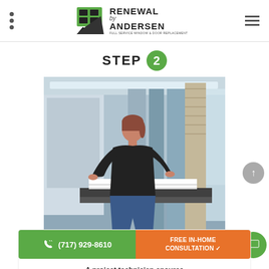Renewal by Andersen — Full-Service Window & Door Replacement
STEP 2
[Figure (photo): Female technician in black shirt and jeans working at an industrial machine, handling window frame materials on a production line.]
(717) 929-8610
FREE IN-HOME CONSULTATION ✓
A project technician ensures the accuracy of measurements before sending in your order for